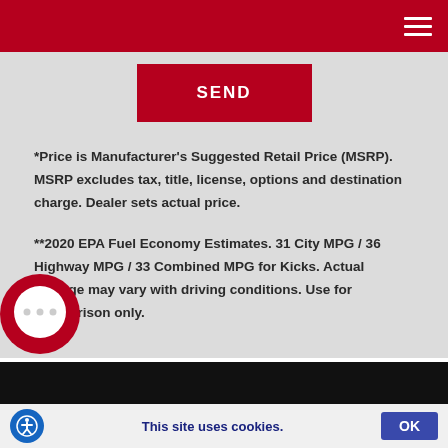SEND
*Price is Manufacturer's Suggested Retail Price (MSRP). MSRP excludes tax, title, license, options and destination charge. Dealer sets actual price.
**2020 EPA Fuel Economy Estimates. 31 City MPG / 36 Highway MPG / 33 Combined MPG for Kicks. Actual mileage may vary with driving conditions. Use for comparison only.
This site uses cookies. OK